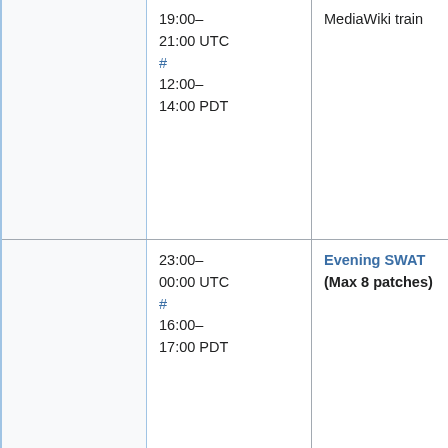|  | Time | Event | Person |
| --- | --- | --- | --- |
|  | 19:00–21:00 UTC
#
12:00–14:00 PDT | MediaWiki train | Mukunda (twentyafter… |
|  | 23:00–00:00 UTC
#
16:00–17:00 PDT | Evening SWAT
(Max 8 patches) | Roan (RoanKattouw…
Chad (ostrich…
Alex (Krenair…
(MaxSem), or
Sébastien (Dereckson) |